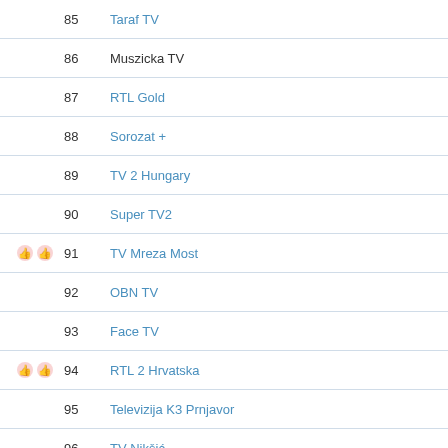| Icon | Num | Channel |
| --- | --- | --- |
|  | 85 | Taraf TV |
|  | 86 | Muszicka TV |
|  | 87 | RTL Gold |
|  | 88 | Sorozat + |
|  | 89 | TV 2 Hungary |
|  | 90 | Super TV2 |
| thumbs | 91 | TV Mreza Most |
|  | 92 | OBN TV |
|  | 93 | Face TV |
| thumbs | 94 | RTL 2 Hrvatska |
|  | 95 | Televizija K3 Prnjavor |
|  | 96 | TV Nikšić |
| thumbs | 97 | Adria TV |
| thumbs | 98 | TV Pljevlja |
|  | 99 | Baby TV Europe |
|  | 014 | Ku | 11739 | V | 29900 | 2/3 |
| --- | --- | --- | --- | --- | --- | --- |
|  |  | Channel |
| --- | --- | --- |
| thumbs | 100 | NPO Politiek |
| thumbs | 101 | 192TV |